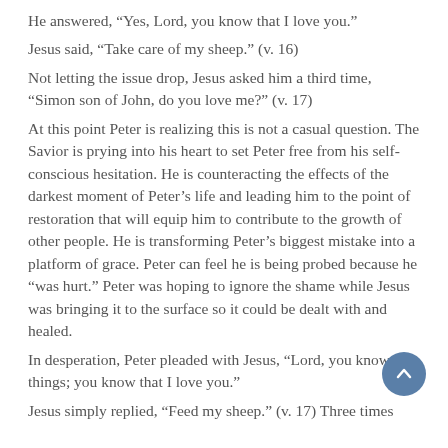He answered, “Yes, Lord, you know that I love you.”
Jesus said, “Take care of my sheep.” (v. 16)
Not letting the issue drop, Jesus asked him a third time, “Simon son of John, do you love me?” (v. 17)
At this point Peter is realizing this is not a casual question. The Savior is prying into his heart to set Peter free from his self-conscious hesitation. He is counteracting the effects of the darkest moment of Peter’s life and leading him to the point of restoration that will equip him to contribute to the growth of other people. He is transforming Peter’s biggest mistake into a platform of grace. Peter can feel he is being probed because he “was hurt.” Peter was hoping to ignore the shame while Jesus was bringing it to the surface so it could be dealt with and healed.
In desperation, Peter pleaded with Jesus, “Lord, you know all things; you know that I love you.”
Jesus simply replied, “Feed my sheep.” (v. 17) Three times